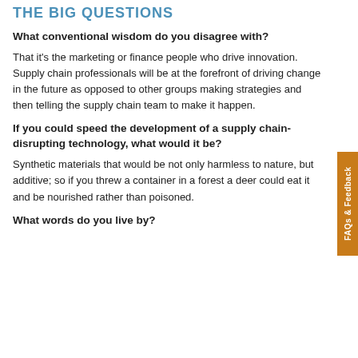THE BIG QUESTIONS
What conventional wisdom do you disagree with?
That it's the marketing or finance people who drive innovation. Supply chain professionals will be at the forefront of driving change in the future as opposed to other groups making strategies and then telling the supply chain team to make it happen.
If you could speed the development of a supply chain-disrupting technology, what would it be?
Synthetic materials that would be not only harmless to nature, but additive; so if you threw a container in a forest a deer could eat it and be nourished rather than poisoned.
What words do you live by?